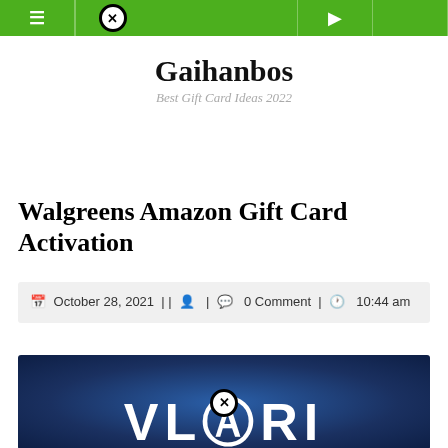Gaihanbos — Best Gift Card Ideas 2022
Walgreens Amazon Gift Card Activation
October 28, 2021 | | 👤 | 💬 0 Comment | 🕐 10:44 am
[Figure (photo): Blue gradient background image with large white bold letters partially visible at the bottom, obscured by close/ad button overlay]